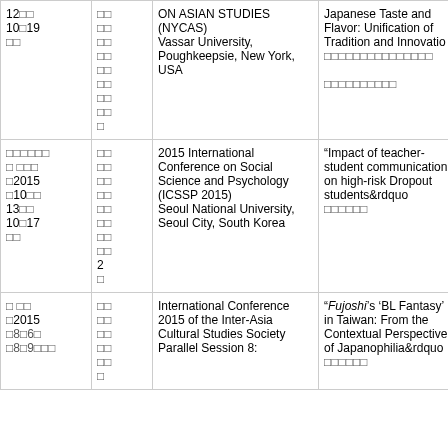| Date | Type | Conference | Title | Link |
| --- | --- | --- | --- | --- |
| 12□□
10□19
□□ | □□
□□
□□
□□
□□
□□
□□
□□
□ | ON ASIAN STUDIES (NYCAS)
Vassar University, Poughkeepsie, New York, USA | Japanese Taste and Flavor: Unification of Tradition and Innovatio
□□□□□□□□□□□□□□□
□□□□□□□□□□ |  |
| □□□□□□
□ □□□
□2015
□10□□
13□□
10□17
□□ | □□
□□
□□
□□
□□
□□
□□
□□
2
□ | 2015 International Conference on Social Science and Psychology (ICSSP 2015)
Seoul National University, Seoul City, South Korea | "Impact of teacher-student communication on high-risk Dropout students&rdquo
□□□□□□ | DL |
| □ □□
□2015
□8□6□
□8□9□□□ | □□
□□
□□
□□
□□
□ | International Conference 2015 of the Inter-Asia Cultural Studies Society
Parallel Session 8: | "Fujoshi's 'BL Fantasy' in Taiwan: From the Contextual Perspective of Japanophilia&rdquo
□□□□□□ | DL |